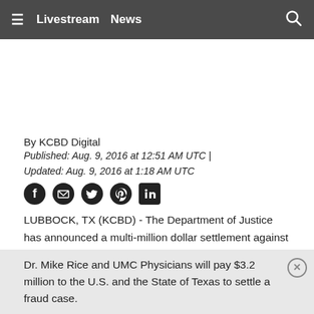≡  Livestream  News  🔍
By KCBD Digital
Published: Aug. 9, 2016 at 12:51 AM UTC  |
Updated: Aug. 9, 2016 at 1:18 AM UTC
[Figure (other): Social media share icons: Facebook, Email, Twitter, Pinterest, LinkedIn]
LUBBOCK, TX (KCBD) - The Department of Justice has announced a multi-million dollar settlement against the estate of a Lubbock doctor and the group that employed him.
Dr. Mike Rice and UMC Physicians will pay $3.2 million to the U.S. and the State of Texas to settle a fraud case.